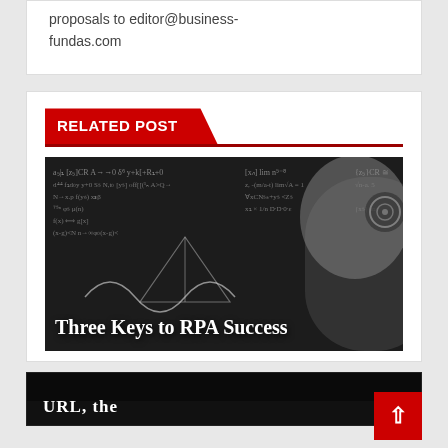proposals to editor@business-fundas.com
RELATED POST
[Figure (photo): Robot humanoid head in profile against a blackboard covered in mathematical equations. Title text overlay reads 'Three Keys to RPA Success']
[Figure (photo): Partial image with dark background showing text 'URL, the']